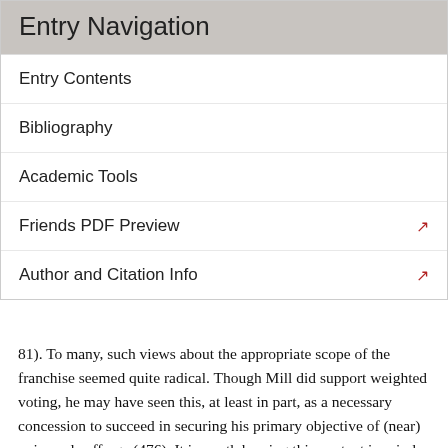Entry Navigation
Entry Contents
Bibliography
Academic Tools
Friends PDF Preview
Author and Citation Info
81). To many, such views about the appropriate scope of the franchise seemed quite radical. Though Mill did support weighted voting, he may have seen this, at least in part, as a necessary concession to succeed in securing his primary objective of (near) universal suffrage (476). It is worth bearing this context in mind when evaluating Mill's proposals for the scope and weight of the franchise.
As we noted earlier, Mill does not defend representative democracy as ideal under all historical and social circumstances. There are some social circumstances, he thinks, in which democracy will not promote the common